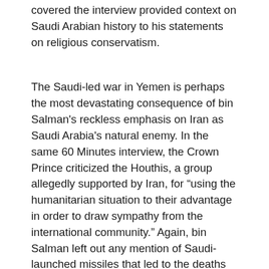covered the interview provided context on Saudi Arabian history to his statements on religious conservatism.
The Saudi-led war in Yemen is perhaps the most devastating consequence of bin Salman's reckless emphasis on Iran as Saudi Arabia's natural enemy. In the same 60 Minutes interview, the Crown Prince criticized the Houthis, a group allegedly supported by Iran, for “using the humanitarian situation to their advantage in order to draw sympathy from the international community.” Again, bin Salman left out any mention of Saudi-launched missiles that led to the deaths of thousands of Yemenis, and of the Saudi-led blockade that led to a million cholera cases and millions more without access to healthcare and clean water. He seems to be unperturbed even by the fact that upwards